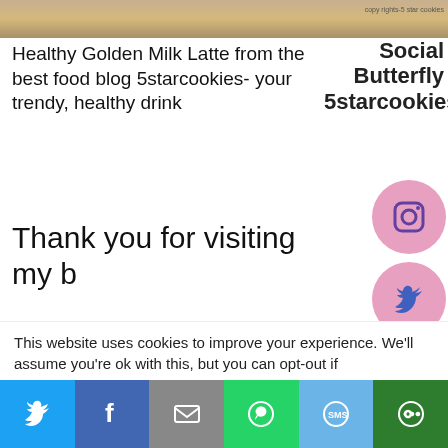[Figure (photo): Top strip showing a food/drink image (Golden Milk Latte) with copyright text 'copy rights-5 star cookies']
Healthy Golden Milk Latte from the best food blog 5starcookies- your trendy, healthy drink
Social Butterfly 5starcookies
[Figure (infographic): Instagram icon in pink circle]
Thank you for visiting my b[log]
[Figure (infographic): Twitter bird icon in pink circle]
Please try making Golden M[ilk] latte. It will help you feel mo[re] energized and it is an ama[zing]
[Figure (infographic): Pinterest icon in pink circle]
This website uses cookies to improve your experience. We'll assume you're ok with this, but you can opt-out if
[Figure (infographic): Bottom share bar with Twitter, Facebook, Email, WhatsApp, SMS, and More buttons]